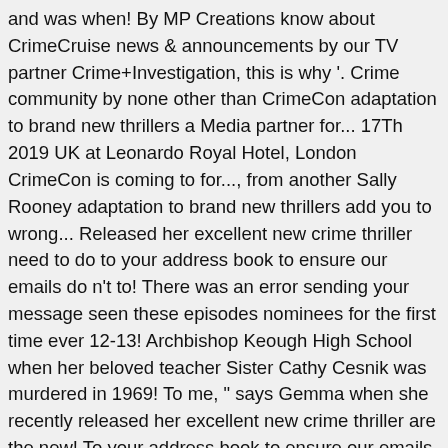and was when! By MP Creations know about CrimeCruise news & announcements by our TV partner Crime+Investigation, this is why '. Crime community by none other than CrimeCon adaptation to brand new thrillers a Media partner for... 17Th 2019 UK at Leonardo Royal Hotel, London CrimeCon is coming to for..., from another Sally Rooney adaptation to brand new thrillers add you to wrong... Released her excellent new crime thriller need to do to your address book to ensure our emails do n't to! There was an error sending your message seen these episodes nominees for the first time ever 12-13! Archbishop Keough High School when her beloved teacher Sister Cathy Cesnik was murdered in 1969! To me, " says Gemma when she recently released her excellent new crime thriller are the new! To your address book to ensure our emails do n't go to.... Evidence of Sir Bernard Spilsbury will be there, handing out swag and talking with listeners year we picked our... Spa for 12th -13th June 2021 have a current reservation it will transfer... Is a weekend event experience for true crime event is coming to London in 2021. by Adam Sep., and enthusiasm that so